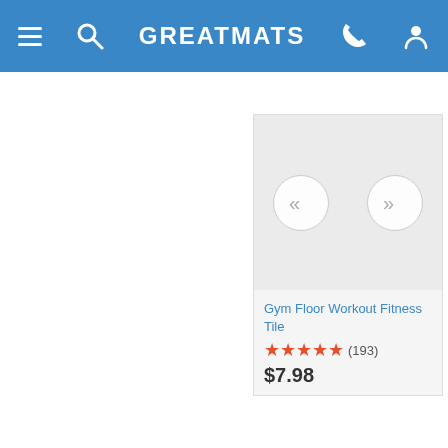GREATMATS
[Figure (screenshot): Product card showing Gym Floor Workout Fitness Tile with navigation arrows, 5-star rating (193 reviews), priced at $7.98]
Gym, School and Sports Rubber & Foam Mats
Versatile Sports Mats